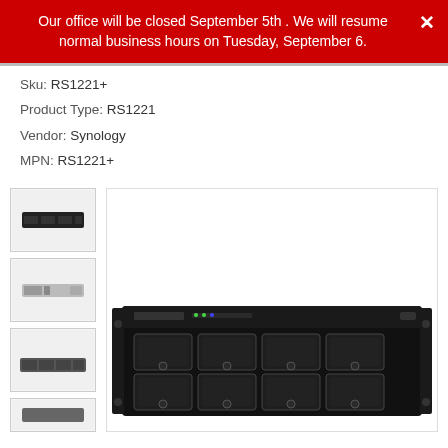Our office will be closed September 5th . We will resume normal business hours on Tuesday, September 6.
Sku: RS1221+
Product Type: RS1221
Vendor: Synology
MPN: RS1221+
[Figure (photo): Synology RS1221+ rackmount NAS device - front view thumbnails and main product image showing 8-bay 2U rack-mounted NAS enclosure with drive bays]